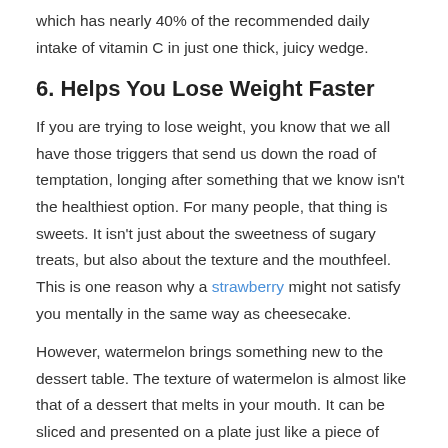which has nearly 40% of the recommended daily intake of vitamin C in just one thick, juicy wedge.
6. Helps You Lose Weight Faster
If you are trying to lose weight, you know that we all have those triggers that send us down the road of temptation, longing after something that we know isn't the healthiest option. For many people, that thing is sweets. It isn't just about the sweetness of sugary treats, but also about the texture and the mouthfeel. This is one reason why a strawberry might not satisfy you mentally in the same way as cheesecake.
However, watermelon brings something new to the dessert table. The texture of watermelon is almost like that of a dessert that melts in your mouth. It can be sliced and presented on a plate just like a piece of cake or pie. Watermelon satisfies the emotional craving as well as the physical one.